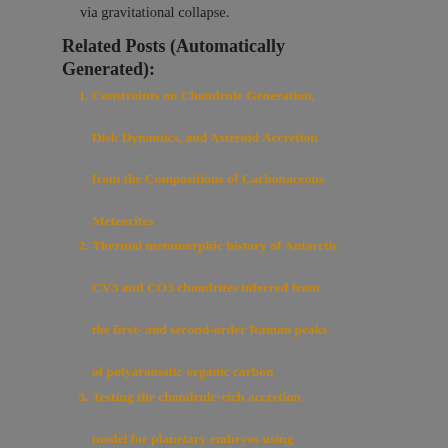via gravitational collapse.
Related Posts (Automatically Generated):
Constraints on Chondrule Generation, Disk Dynamics, and Asteroid Accretion from the Compositions of Carbonaceous Meteorites
Thermal metamorphic history of Antarctic CV3 and CO3 chondrites inferred from the first- and second-order Raman peaks of polyaromatic organic carbon
Testing the chondrule-rich accretion model for planetary embryos using calcium isotopes OPEN ACCESS
Spectral evidence for amorphous silicates